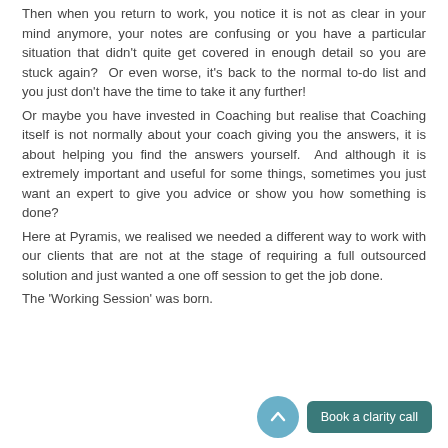Then when you return to work, you notice it is not as clear in your mind anymore, your notes are confusing or you have a particular situation that didn't quite get covered in enough detail so you are stuck again?  Or even worse, it's back to the normal to-do list and you just don't have the time to take it any further!
Or maybe you have invested in Coaching but realise that Coaching itself is not normally about your coach giving you the answers, it is about helping you find the answers yourself.  And although it is extremely important and useful for some things, sometimes you just want an expert to give you advice or show you how something is done?
Here at Pyramis, we realised we needed a different way to work with our clients that are not at the stage of requiring a full outsourced solution and just wanted a one off session to get the job done.
The 'Working Session' was born.
[Figure (other): Scroll-up circular button (blue) and 'Book a clarity call' teal button in the bottom right corner]